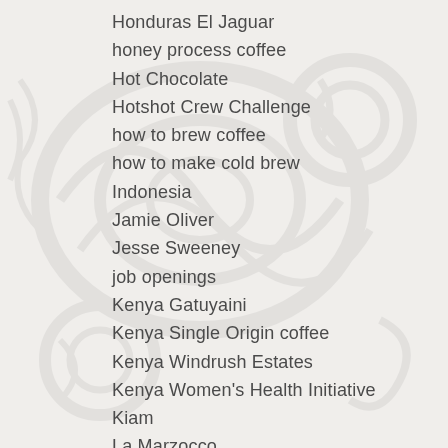Honduras El Jaguar
honey process coffee
Hot Chocolate
Hotshot Crew Challenge
how to brew coffee
how to make cold brew
Indonesia
Jamie Oliver
Jesse Sweeney
job openings
Kenya Gatuyaini
Kenya Single Origin coffee
Kenya Windrush Estates
Kenya Women's Health Initiative
Kiam
La Marzocco